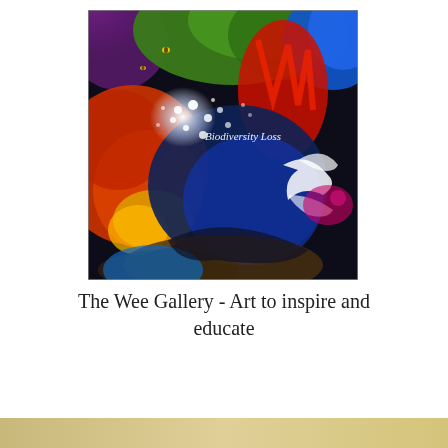[Figure (illustration): Abstract acrylic painting with vibrant colors — purples, greens, blues, reds, oranges, yellow, white — depicting chaotic swirls and splashes suggesting biodiversity loss. Text 'Biodiversity Loss' appears in white italic at the center-right of the painting.]
The Wee Gallery - Art to inspire and educate